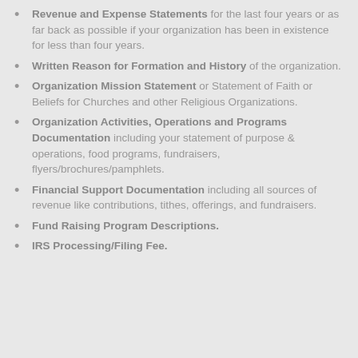Revenue and Expense Statements for the last four years or as far back as possible if your organization has been in existence for less than four years.
Written Reason for Formation and History of the organization.
Organization Mission Statement or Statement of Faith or Beliefs for Churches and other Religious Organizations.
Organization Activities, Operations and Programs Documentation including your statement of purpose & operations, food programs, fundraisers, flyers/brochures/pamphlets.
Financial Support Documentation including all sources of revenue like contributions, tithes, offerings, and fundraisers.
Fund Raising Program Descriptions.
IRS Processing/Filing Fee.